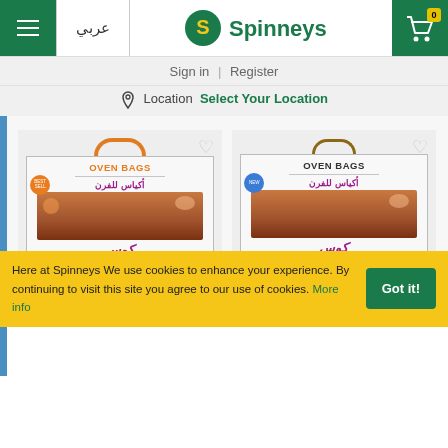Spinneys — عربي | Sign in | Register | Location: Select Your Location
[Figure (screenshot): Spinneys e-commerce website header with hamburger menu, Arabic language toggle, Spinneys logo, and cart icon showing 0 items]
Sign in | Register
Location  Select Your Location
[Figure (photo): Two Queen Oven Bags products side by side: left is Queen Oven Bags 43*60, right is Queen Medium Oven Bags. Both show the Koos brand oven bags packaging with orange handle, Arabic text, and roasted meat imagery.]
Queen Oven Bags, 43*60
Queen Medium Oven Bags
Here at Spinneys We use cookies to enhance your experience. By continuing to visit this site you agree to our use of cookies. More info